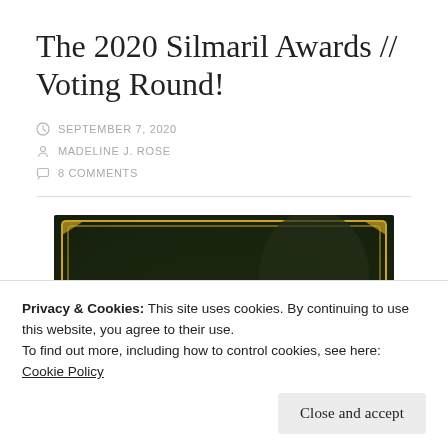The 2020 Silmaril Awards // Voting Round!
SEPTEMBER 7, 2020
MADELINE J. ROSE
8 COMMENTS
[Figure (photo): Decorative banner image for The Silmaril Awards with dark green background and gold text reading 'the Silmaril']
Privacy & Cookies: This site uses cookies. By continuing to use this website, you agree to their use.
To find out more, including how to control cookies, see here: Cookie Policy
Close and accept